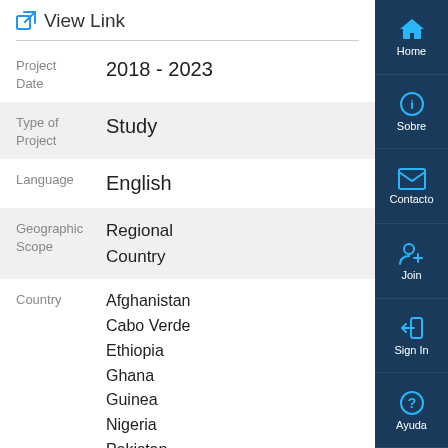View Link
| Project Date | 2018 - 2023 |
| Type of Project | Study |
| Language | English |
| Geographic Scope | Regional
Country |
| Country | Afghanistan
Cabo Verde
Ethiopia
Ghana
Guinea
Nigeria
Pakistan |
[Figure (screenshot): Sidebar navigation with Home, Sobre, Contacto, Join, Sign In, Ayuda buttons]